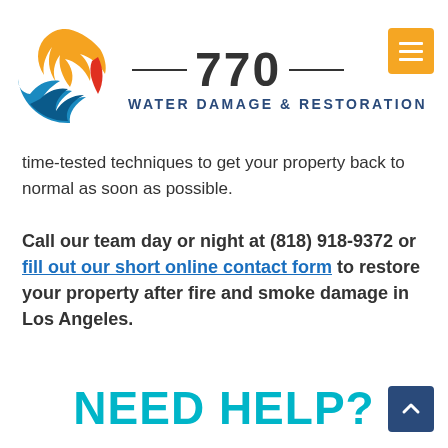[Figure (logo): 770 Water Damage & Restoration logo with circular wave graphic in orange, red, and blue, and company name text]
time-tested techniques to get your property back to normal as soon as possible.
Call our team day or night at (818) 918-9372 or fill out our short online contact form to restore your property after fire and smoke damage in Los Angeles.
NEED HELP?